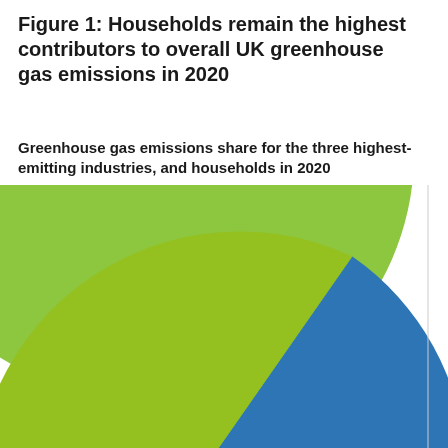Figure 1: Households remain the highest contributors to overall UK greenhouse gas emissions in 2020
Greenhouse gas emissions share for the three highest-emitting industries, and households in 2020
[Figure (pie-chart): Partial pie chart cropped at bottom, showing large green-yellow slice (households, largest segment ~28%), large blue slice (~27%), teal/dark teal smaller slices at bottom. The chart is cut off at the bottom of the page.]